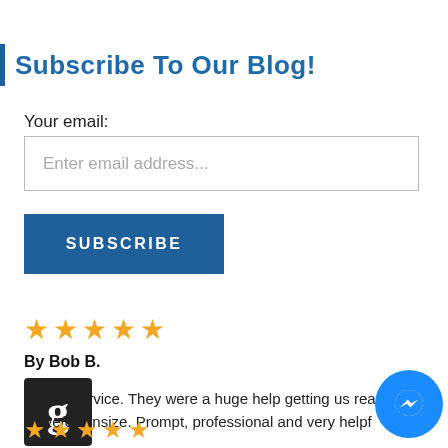Subscribe To Our Blog!
Your email:
Enter email address...
SUBSCRIBE
[Figure (other): Five gold star rating icons]
By Bob B.
[Figure (logo): Google 'g' logo on dark background]
Terrific service. They were a huge help getting us rea move/downsize. Prompt, professional and very helpf
[Figure (other): Facebook Messenger blue circle chat bubble icon]